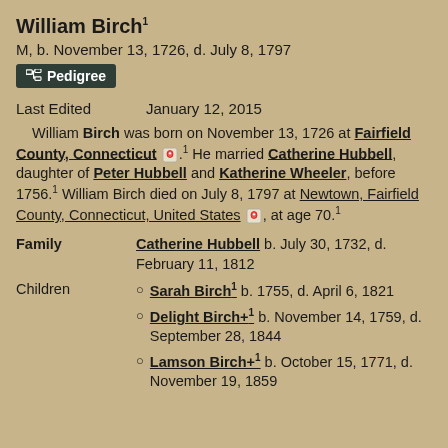William Birch¹
M, b. November 13, 1726, d. July 8, 1797
Pedigree
Last Edited   January 12, 2015
William Birch was born on November 13, 1726 at Fairfield County, Connecticut. He married Catherine Hubbell, daughter of Peter Hubbell and Katherine Wheeler, before 1756.¹ William Birch died on July 8, 1797 at Newtown, Fairfield County, Connecticut, United States, at age 70.¹
Family: Catherine Hubbell b. July 30, 1732, d. February 11, 1812
Sarah Birch¹ b. 1755, d. April 6, 1821
Delight Birch+¹ b. November 14, 1759, d. September 28, 1844
Lamson Birch+¹ b. October 15, 1771, d. November 19, 1859